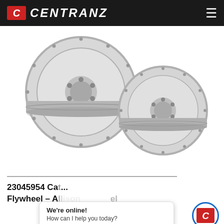CENTRANZ
[Figure (photo): Two silver metal flywheels shown side by side on a white background. The flywheels are circular disc components with machined surfaces, bolt holes around the rim, and central hub assemblies.]
23045954 Cat... Flywheel – A... ...eel